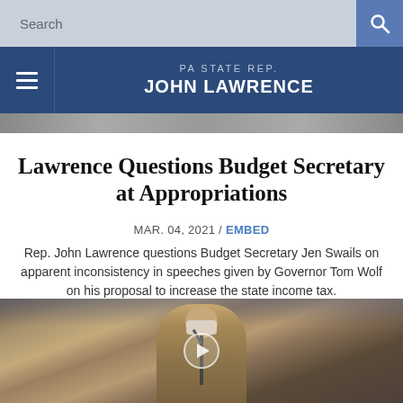Search
PA STATE REP. JOHN LAWRENCE
[Figure (photo): Top image strip / banner photo of legislative chamber]
Lawrence Questions Budget Secretary at Appropriations
MAR. 04, 2021 / EMBED
Rep. John Lawrence questions Budget Secretary Jen Swails on apparent inconsistency in speeches given by Governor Tom Wolf on his proposal to increase the state income tax.
[Figure (photo): Video thumbnail showing Rep. John Lawrence speaking at podium in legislative chamber, wearing a mask, with stone wall background. Play button overlay visible.]